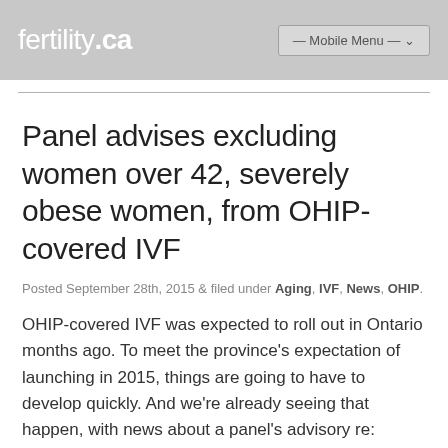fertility.ca — Mobile Menu —
Panel advises excluding women over 42, severely obese women, from OHIP-covered IVF
Posted September 28th, 2015 & filed under Aging, IVF, News, OHIP.
OHIP-covered IVF was expected to roll out in Ontario months ago. To meet the province's expectation of launching in 2015, things are going to have to develop quickly. And we're already seeing that happen, with news about a panel's advisory re: OHIP-covered IVF recently surfacing. (If you aren't caught up, I